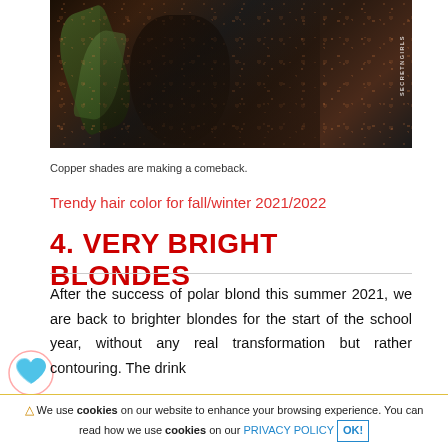[Figure (photo): A person wearing a dark floral patterned jacket/top, photographed outdoors among green leaves. The clothing has small copper/orange floral details on dark fabric. A watermark reading 'SECRETNGIRLS' is visible on the right edge.]
Copper shades are making a comeback.
Trendy hair color for fall/winter 2021/2022
4. VERY BRIGHT BLONDES
After the success of polar blond this summer 2021, we are back to brighter blondes for the start of the school year, without any real transformation but rather contouring. The drink
⚠ We use cookies on our website to enhance your browsing experience. You can read how we use cookies on our PRIVACY POLICY OK!